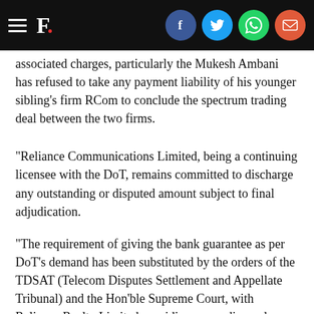F. [social sharing bar with Facebook, Twitter, WhatsApp, Email icons]
associated charges, particularly the Mukesh Ambani has refused to take any payment liability of his younger sibling's firm RCom to conclude the spectrum trading deal between the two firms.
"Reliance Communications Limited, being a continuing licensee with the DoT, remains committed to discharge any outstanding or disputed amount subject to final adjudication.
"The requirement of giving the bank guarantee as per DoT's demand has been substituted by the orders of the TDSAT (Telecom Disputes Settlement and Appellate Tribunal) and the Hon'ble Supreme Court, with Reliance Realty Limited providing a non-disposal undertaking and Corporate Guarantee," RCom said on Thursday.